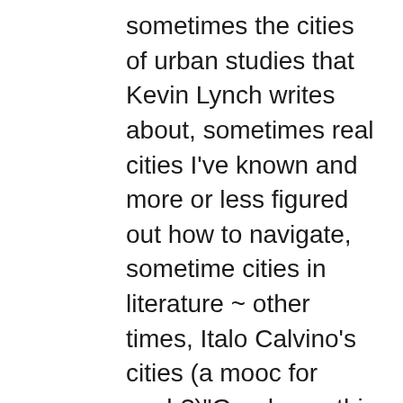sometimes the cities of urban studies that Kevin Lynch writes about, sometimes real cities I've known and more or less figured out how to navigate, sometime cities in literature ~ other times, Italo Calvino's cities (a mooc for each?)"Good one; this is indeed better than the campus. The city works as its layers of complexity, fluid borders, constant movement and states of interaction map well to a MOOC. If you get bored (and I mean really bored), take a look at a project I had done for my Masters (http://michaelgallagher.posterous.com/pages/urban-cultural-heritage) discussing the city as a learning space (specifically for Cultural Heritage). "Could we paraphrase Samuel Johnson and ""Why, Sir, you find no man, at all intellectual, who is willing to leave London. No, Sir, when a man is tired of